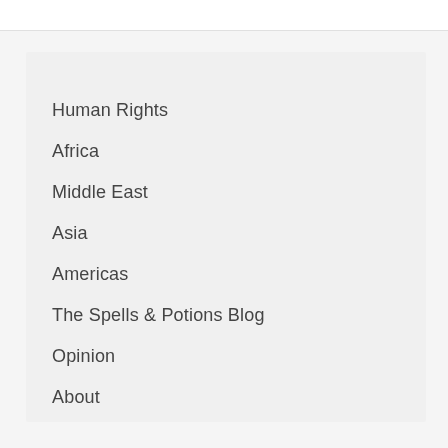Human Rights
Africa
Middle East
Asia
Americas
The Spells & Potions Blog
Opinion
About